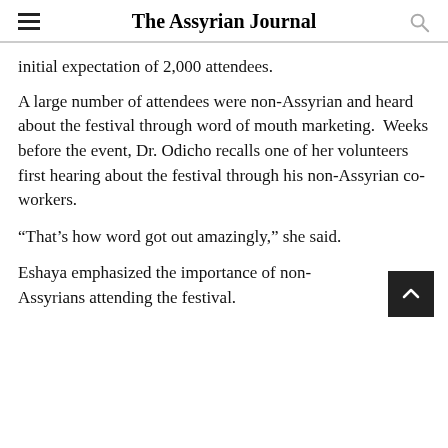The Assyrian Journal
initial expectation of 2,000 attendees.
A large number of attendees were non-Assyrian and heard about the festival through word of mouth marketing.  Weeks before the event, Dr. Odicho recalls one of her volunteers first hearing about the festival through his non-Assyrian co-workers.
“That’s how word got out amazingly,” she said.
Eshaya emphasized the importance of non-Assyrians attending the festival.